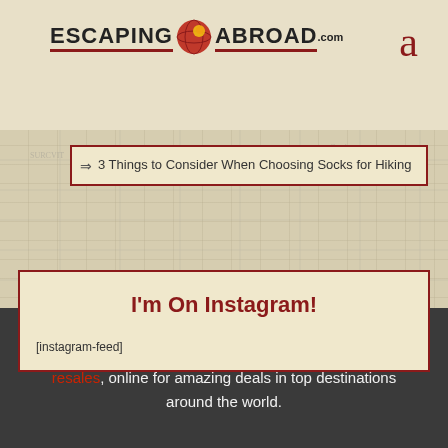[Figure (logo): Escaping Abroad logo with globe icon between the two words]
a
3 Things to Consider When Choosing Socks for Hiking
I'm On Instagram!
[instagram-feed]
Shop Wyndham timeshare resales and Disney timeshare resales, online for amazing deals in top destinations around the world.